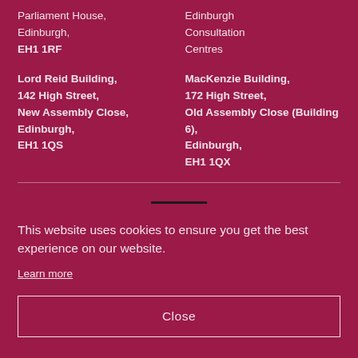Parliament House, Edinburgh, EH1 1RF
Edinburgh Consultation Centres
Lord Reid Building, 142 High Street, New Assembly Close, Edinburgh, EH1 1QS
MacKenzie Building, 172 High Street, Old Assembly Close (Building 6), Edinburgh, EH1 1QX
This website uses cookies to ensure you get the best experience on our website.
Learn more
Close